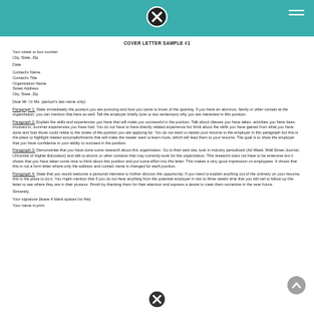COVER LETTER SAMPLE #1
Your street or box number
City, State, Zip
Date
Contact's Name
Contact's Title
Organization Name
Street Address
City, State, Zip
Dear Mr. Or Ms. (person's last name only):
Paragraph 1: State immediately the position you are pursuing and how you came to know of the opening. If you have an alumnus, family or other contact at the organization, you can mention that here as well. Tell the employer briefly (one or two sentences) why you are interested in this position.
Paragraph 2: Explain the skills and experiences you have that will make you successful in the position. Talk about classes you have taken, activities you have been involved in, summer experiences you have had. You do not have to have directly related experience but think about the skills you have gained from what you have done and how those could relate to the duties of the position you are applying for. You do not want to repeat your resume to the employer in this paragraph but this is the place to highlight related accomplishments that will make the reader want to learn more, which will lead them to your resume. The goal is to show the employer that you have confidence in your ability to succeed in the position.
Paragraph 3: Demonstrate that you have done some research about this organization. Go to their web site, look in industry periodicals (Ad Week, Wall Street Journal, Chronicle of Higher Education) and talk to alumni or other contacts that may currently work for the organization. This research does not have to be extensive but it shows that you have taken some time to think about this position and put some effort into this letter. This makes a very good impression on employees. It shows that this is not a form letter where only the address and contact name is changed for each position.
Paragraph 4: State that you would welcome a personal interview to further discuss this opportunity. If you need to explain anything out of the ordinary on your resume, this is the place to do it. You might mention that if you do not hear anything from the potential employer in two to three weeks time that you will call to follow up this letter to see where they are in their process. Finish by thanking them for their attention and express a desire to meet them sometime in the near future.
Sincerely,
Your signature (leave 4 blank spaces for this)
Your name in print